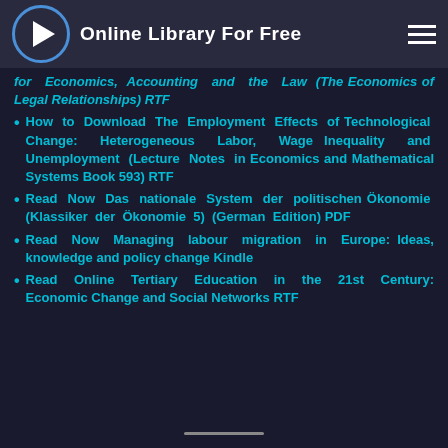Online Library For Free
for Economics, Accounting and the Law (The Economics of Legal Relationships) RTF
How to Download The Employment Effects of Technological Change: Heterogeneous Labor, Wage Inequality and Unemployment (Lecture Notes in Economics and Mathematical Systems Book 593) RTF
Read Now Das nationale System der politischen Ökonomie (Klassiker der Ökonomie 5) (German Edition) PDF
Read Now Managing labour migration in Europe: Ideas, knowledge and policy change Kindle
Read Online Tertiary Education in the 21st Century: Economic Change and Social Networks RTF